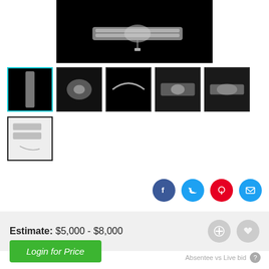[Figure (photo): Main large image of a diamond/crystal bracelet on black background]
[Figure (photo): Thumbnail 1 (selected): bracelet on black background]
[Figure (photo): Thumbnail 2: close-up of bracelet clasp]
[Figure (photo): Thumbnail 3: bracelet on dark background]
[Figure (photo): Thumbnail 4: close-up of bracelet center]
[Figure (photo): Thumbnail 5: bracelet close-up]
[Figure (photo): Thumbnail 6 (row 2): bracelet laid out]
Estimate:  $5,000 - $8,000
Login for Price
Absentee vs Live bid ?